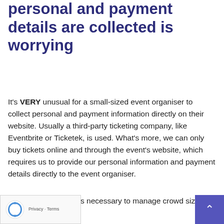personal and payment details are collected is worrying
It's VERY unusual for a small-sized event organiser to collect personal and payment information directly on their website. Usually a third-party ticketing company, like Eventbrite or Ticketek, is used. What's more, we can only buy tickets online and through the event's website, which requires us to provide our personal information and payment details directly to the event organiser.
“And because it’s necessary to manage crowd sizes and ensure